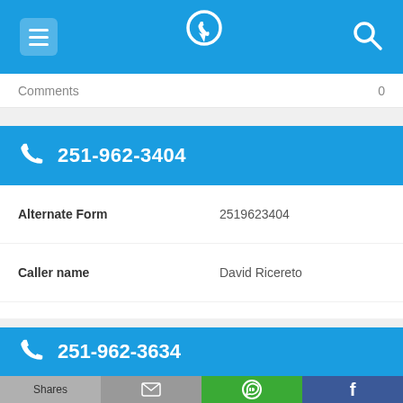Navigation header with menu, phone/location icon, and search icon
Comments  0
251-962-3404
| Field | Value |
| --- | --- |
| Alternate Form | 2519623404 |
| Caller name | David Ricereto |
| Last User Search | No searches yet |
| Comments | 0 |
251-962-3634
Shares | [email] | [WhatsApp] | [Facebook]